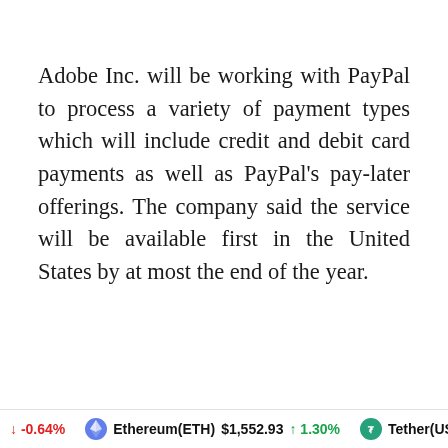Adobe Inc. will be working with PayPal to process a variety of payment types which will include credit and debit card payments as well as PayPal's pay-later offerings. The company said the service will be available first in the United States by at most the end of the year.
↓ -0.64%   Ethereum(ETH) $1,552.93 ↑ 1.30%   Tether(US...